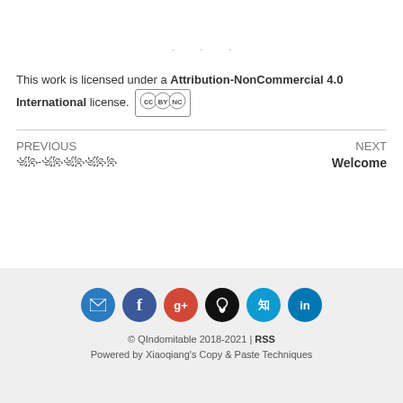· · ·
This work is licensed under a Attribution-NonCommercial 4.0 International license. [CC BY-NC badge]
PREVIOUS
꧁꧂-꧁꧂꧁꧂꧁꧂꧂
NEXT
Welcome
[Figure (infographic): Row of 6 colored circular social media icon buttons: email (blue), Facebook (dark blue), Google+ (red), GitHub (black), Zhihu (light blue), LinkedIn (blue)]
© QIndomitable 2018-2021 | RSS
Powered by Xiaoqiang's Copy & Paste Techniques